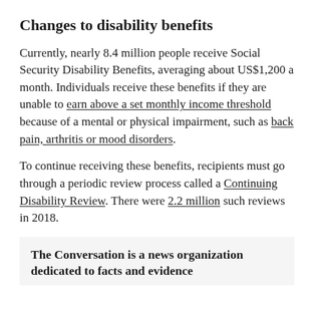Changes to disability benefits
Currently, nearly 8.4 million people receive Social Security Disability Benefits, averaging about US$1,200 a month. Individuals receive these benefits if they are unable to earn above a set monthly income threshold because of a mental or physical impairment, such as back pain, arthritis or mood disorders.
To continue receiving these benefits, recipients must go through a periodic review process called a Continuing Disability Review. There were 2.2 million such reviews in 2018.
The Conversation is a news organization dedicated to facts and evidence